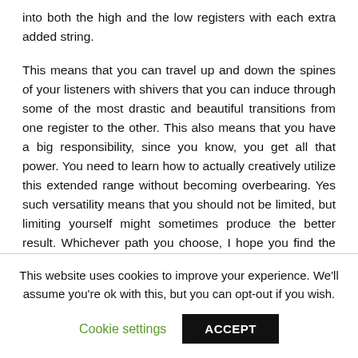into both the high and the low registers with each extra added string.
This means that you can travel up and down the spines of your listeners with shivers that you can induce through some of the most drastic and beautiful transitions from one register to the other. This also means that you have a big responsibility, since you know, you get all that power. You need to learn how to actually creatively utilize this extended range without becoming overbearing. Yes such versatility means that you should not be limited, but limiting yourself might sometimes produce the better result. Whichever path you choose, I hope you find the time spent studying and playing this instrument to be as enjoyable as I find the music played on it.
This website uses cookies to improve your experience. We'll assume you're ok with this, but you can opt-out if you wish.
Cookie settings    ACCEPT